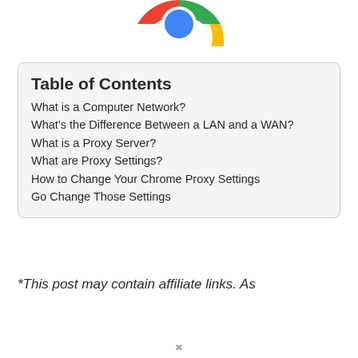[Figure (logo): Partial Chrome browser logo (green, yellow, red ring) visible at top center of page, cropped]
Table of Contents
What is a Computer Network?
What’s the Difference Between a LAN and a WAN?
What is a Proxy Server?
What are Proxy Settings?
How to Change Your Chrome Proxy Settings
Go Change Those Settings
*This post may contain affiliate links. As